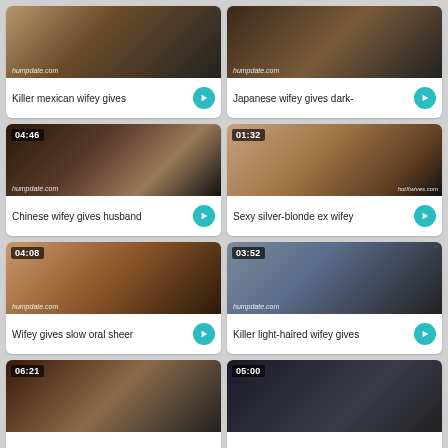[Figure (screenshot): Video thumbnail - Killer mexican wifey gives]
Killer mexican wifey gives
[Figure (screenshot): Video thumbnail - Japanese wifey gives dark-]
Japanese wifey gives dark-
[Figure (screenshot): Video thumbnail 04:46 - Chinese wifey gives husband]
Chinese wifey gives husband
[Figure (screenshot): Video thumbnail 01:32 - Sexy silver-blonde ex wifey]
Sexy silver-blonde ex wifey
[Figure (screenshot): Video thumbnail 04:08 - Wifey gives slow oral sheer]
Wifey gives slow oral sheer
[Figure (screenshot): Video thumbnail 03:52 - Killer light-haired wifey gives]
Killer light-haired wifey gives
[Figure (screenshot): Video thumbnail 06:21 - partial view]
[Figure (screenshot): Video thumbnail 05:00 - partial view]